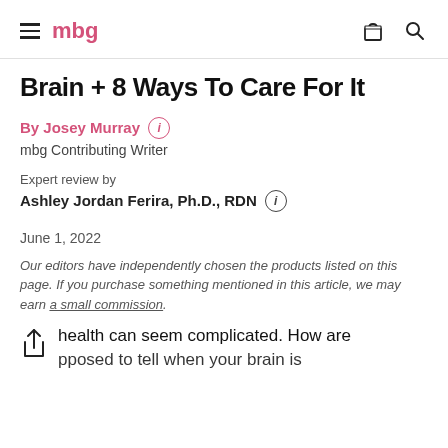mbg
Brain + 8 Ways To Care For It
By Josey Murray
mbg Contributing Writer
Expert review by
Ashley Jordan Ferira, Ph.D., RDN
June 1, 2022
Our editors have independently chosen the products listed on this page. If you purchase something mentioned in this article, we may earn a small commission.
health can seem complicated. How are supposed to tell when your brain is